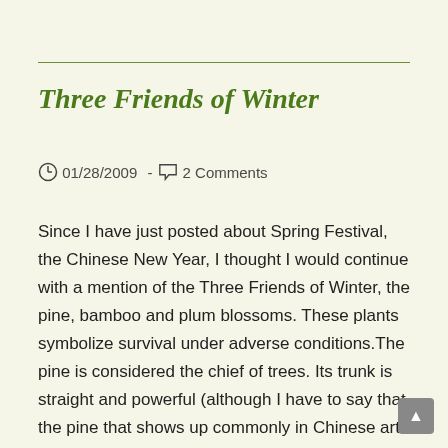Three Friends of Winter
01/28/2009  -  2 Comments
Since I have just posted about Spring Festival, the Chinese New Year, I thought I would continue with a mention of the Three Friends of Winter, the pine, bamboo and plum blossoms. These plants symbolize survival under adverse conditions.The pine is considered the chief of trees. Its trunk is straight and powerful (although I have to say that the pine that shows up commonly in Chinese art is less than tall and straight) like an upright man of…